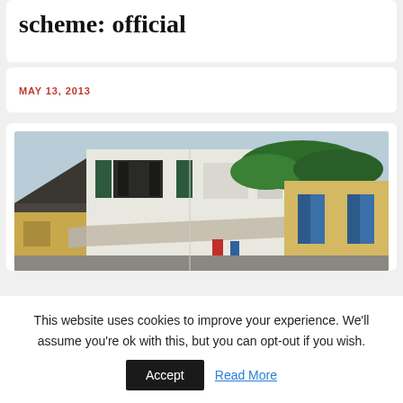scheme: official
MAY 13, 2013
[Figure (photo): Street scene with colorful shophouses — white building with dark shuttered windows, yellow building with blue shutters and green foliage, dark roof structure on left, awning in foreground.]
This website uses cookies to improve your experience. We'll assume you're ok with this, but you can opt-out if you wish.
Accept
Read More